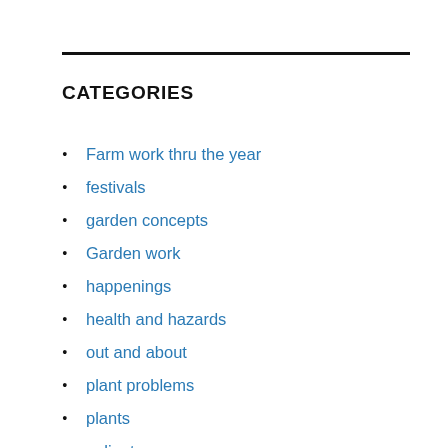CATEGORIES
Farm work thru the year
festivals
garden concepts
Garden work
happenings
health and hazards
out and about
plant problems
plants
polinators
things to do